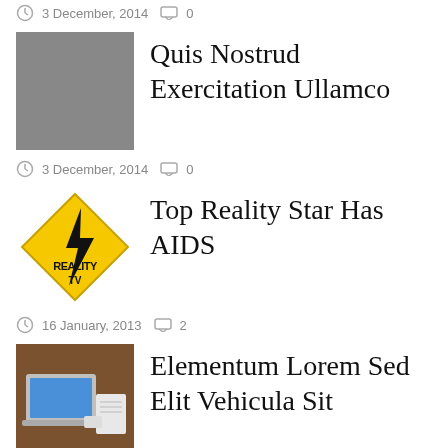3 December, 2014  0
[Figure (photo): Gray placeholder square thumbnail]
Quis Nostrud Exercitation Ullamco
3 December, 2014  0
[Figure (illustration): Reality TV yellow diamond warning sign logo with lightning bolt]
Top Reality Star Has AIDS
16 January, 2013  2
[Figure (photo): Photo of laptop and notebook on wooden table]
Elementum Lorem Sed Elit Vehicula Sit
3 December, 2014  0
[Figure (photo): Partial photo, bottom of page]
Culpa Qui Officia